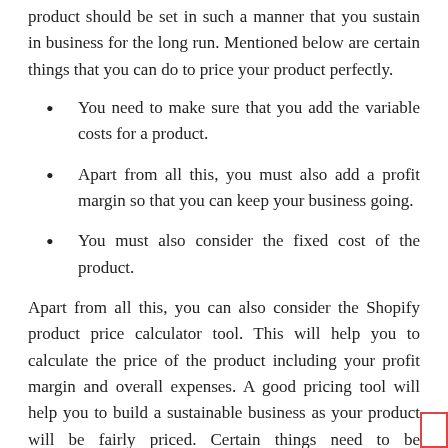product should be set in such a manner that you sustain in business for the long run. Mentioned below are certain things that you can do to price your product perfectly.
You need to make sure that you add the variable costs for a product.
Apart from all this, you must also add a profit margin so that you can keep your business going.
You must also consider the fixed cost of the product.
Apart from all this, you can also consider the Shopify product price calculator tool. This will help you to calculate the price of the product including your profit margin and overall expenses. A good pricing tool will help you to build a sustainable business as your product will be fairly priced. Certain things need to be understood while pricing your product. While putting a price for your product you must account for the price relation of your product to the competitor product. Make sure that you end up